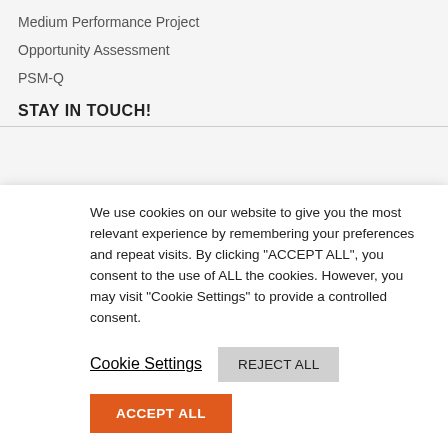Medium Performance Project
Opportunity Assessment
PSM-Q
STAY IN TOUCH!
We use cookies on our website to give you the most relevant experience by remembering your preferences and repeat visits. By clicking “ACCEPT ALL”, you consent to the use of ALL the cookies. However, you may visit “Cookie Settings” to provide a controlled consent.
Cookie Settings
REJECT ALL
ACCEPT ALL